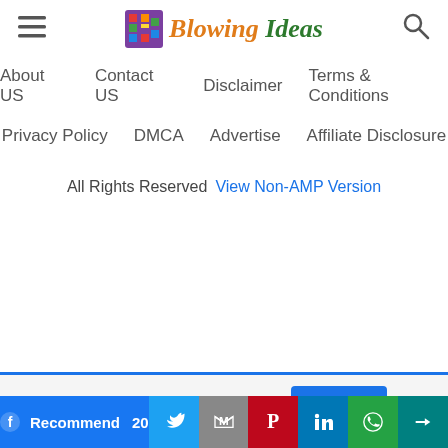Blowing Ideas - header with navigation
About US
Contact US
Disclaimer
Terms & Conditions
Privacy Policy
DMCA
Advertise
Affiliate Disclosure
All Rights Reserved  View Non-AMP Version
This website uses cookies.
Recommend 20 | Twitter | Gmail | Pinterest | LinkedIn | WhatsApp | Forward